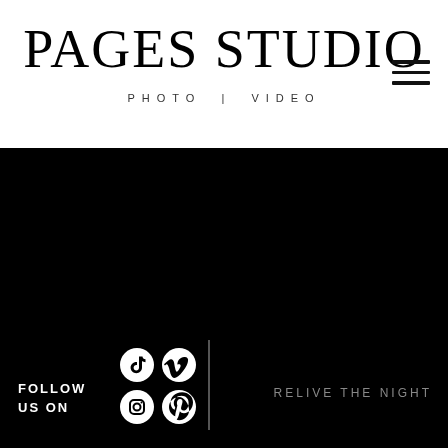PAGES STUDIO
PHOTO | VIDEO
[Figure (screenshot): Dark/black background section representing a video or photo]
FOLLOW US ON
[Figure (logo): Social media icons: TikTok, Vimeo, Instagram, Pinterest]
RELIVE THE NIGHT